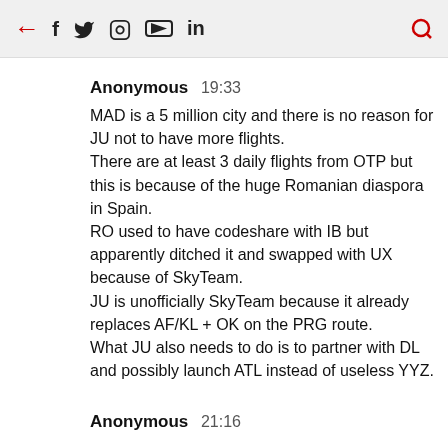← f 🐦 📷 [yt] in 🔍
Anonymous 19:33
MAD is a 5 million city and there is no reason for JU not to have more flights.
There are at least 3 daily flights from OTP but this is because of the huge Romanian diaspora in Spain.
RO used to have codeshare with IB but apparently ditched it and swapped with UX because of SkyTeam.
JU is unofficially SkyTeam because it already replaces AF/KL + OK on the PRG route.
What JU also needs to do is to partner with DL and possibly launch ATL instead of useless YYZ.
Anonymous 21:16